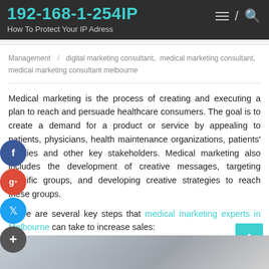192-168-1-254IP
How To Protect Your IP Adress
Management / digital marketing consultant, medical marketing consultant, medical marketing consultant melbourne
Medical marketing is the process of creating and executing a plan to reach and persuade healthcare consumers. The goal is to create a demand for a product or service by appealing to patients, physicians, health maintenance organizations, patients’ families and other key stakeholders. Medical marketing also includes the development of creative messages, targeting specific groups, and developing creative strategies to reach these groups.
There are several key steps that medical marketing experts in Melbourne can take to increase sales:
[Figure (photo): Partial photo of people at bottom of page, partially visible]